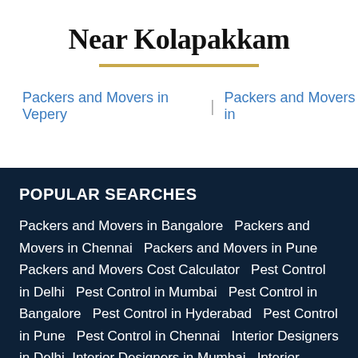Near Kolapakkam
Packers and Movers in Vepery | Packers and Movers in
POPULAR SEARCHES
Packers and Movers in Bangalore  Packers and Movers in Chennai  Packers and Movers in Pune  Packers and Movers Cost Calculator  Pest Control in Delhi  Pest Control in Mumbai  Pest Control in Bangalore  Pest Control in Hyderabad  Pest Control in Pune  Pest Control in Chennai  Interior Designers in Delhi  Interior Designers in Mumbai  Interior Designers in Bangalore  Online Cake Delivery  Birthday Cake